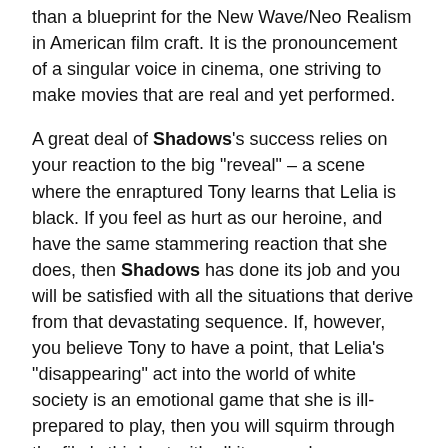than a blueprint for the New Wave/Neo Realism in American film craft. It is the pronouncement of a singular voice in cinema, one striving to make movies that are real and yet performed.
A great deal of Shadows's success relies on your reaction to the big "reveal" – a scene where the enraptured Tony learns that Lelia is black. If you feel as hurt as our heroine, and have the same stammering reaction that she does, then Shadows has done its job and you will be satisfied with all the situations that derive from that devastating sequence. If, however, you believe Tony to have a point, that Lelia's "disappearing" act into the world of white society is an emotional game that she is ill-prepared to play, then you will squirm through the film's third act with all its unspoken suggestions of racism and redolence. Shadows, in many ways, feels like a set of building blocks tossed in the air and recorded as they fall to Earth and regroup. Cassavetes understands that the truth in any situation is found by examining all, not just some, of the circumstances, and he allows the audience to draw its own inferences and connections once he visualizes the parts. Indeed, the cinematic